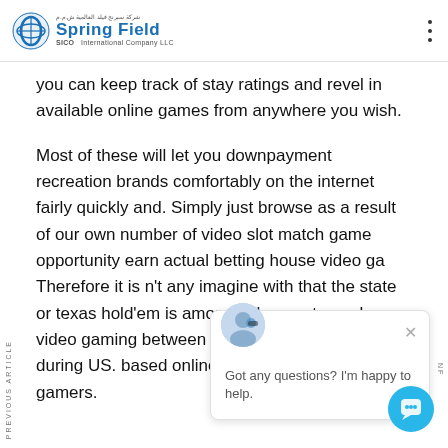Spring Field International Company LLC
you can keep track of stay ratings and revel in available online games from anywhere you wish.
Most of these will let you downpayment recreation brands comfortably on the internet fairly quickly and. Simply just browse as a result of our own number of video slot match game opportunity earn actual betting house video ga Therefore it is n't any imagine with that the state or texas hold'em is amongst the most popular video gaming between US game enthusiasts during US. based online casino attractive Yankee gamers.
[Figure (screenshot): Chat popup with avatar and message: Got any questions? I'm happy to help.]